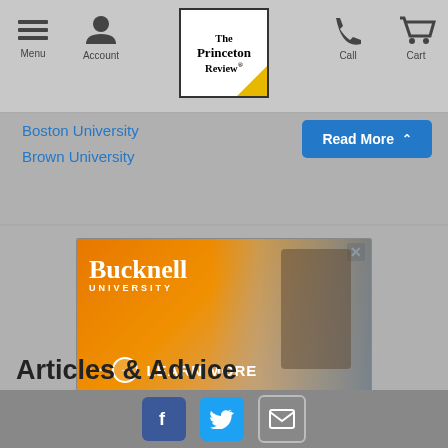Menu | Account | The Princeton Review | Call | Cart
Boston University
Brown University
[Figure (screenshot): Read More button (blue, dropdown arrow)]
[Figure (photo): Bucknell University advertisement with orange background, student studying, and 'Learn More' call to action]
Articles & Advice
[Figure (infographic): Social media share icons: Facebook (blue), Twitter (blue), Email (gray)]